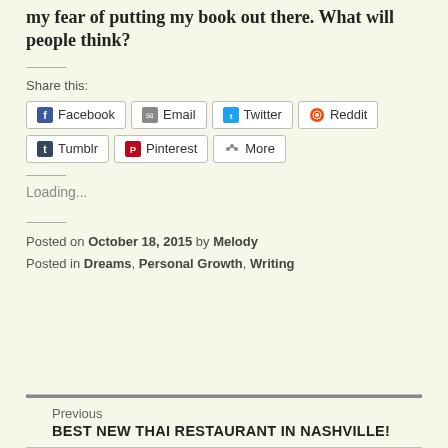my fear of putting my book out there. What will people think?
Share this:
Facebook | Email | Twitter | Reddit | Tumblr | Pinterest | More
Loading...
Posted on October 18, 2015 by Melody
Posted in Dreams, Personal Growth, Writing
Previous
BEST NEW THAI RESTAURANT IN NASHVILLE!